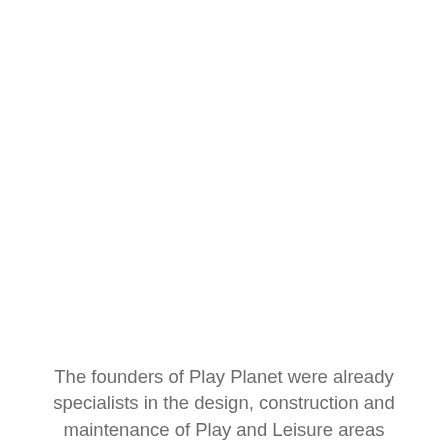The founders of Play Planet were already specialists in the design, construction and maintenance of Play and Leisure areas